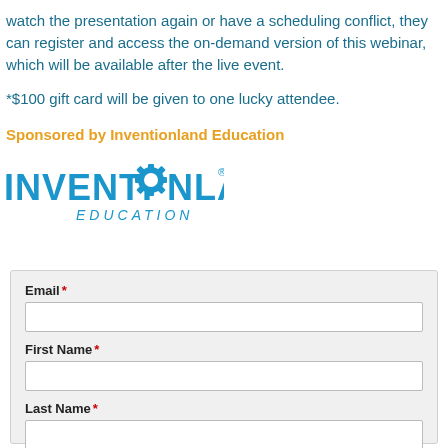watch the presentation again or have a scheduling conflict, they can register and access the on-demand version of this webinar, which will be available after the live event.
*$100 gift card will be given to one lucky attendee.
Sponsored by Inventionland Education
[Figure (logo): Inventionland Education logo with gear icon replacing the O in INVENTIONLAND and EDUCATION in blue italic text below]
| Email * |  |
| First Name * |  |
| Last Name * |  |